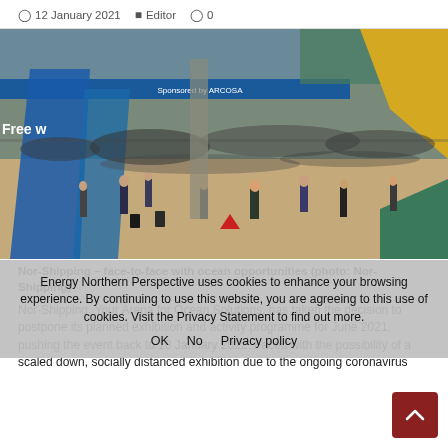12 January 2021  Editor  0
[Figure (photo): Large exhibition hall crowded with people attending the Nor-Shipping trade show. Blue architectural elements visible on the left, yellow on the top right, green on the bottom right. Banner reads 'Free w...' on the left. A 'Sponsored by ARCOSA' sign is visible above the crowd.]
Nor-Shipping – face-to-face with ocean opportunities (photo: Nor-Shipping)
Nor-Shipping, Your Arena for Ocean Solutions, has taken the decision to postpone its planned exhibition and activity programme for June 2021, pushing the event back to 10 January 2022. Faced with the possibility of a scaled down, socially distanced exhibition due to the ongoing coronavirus